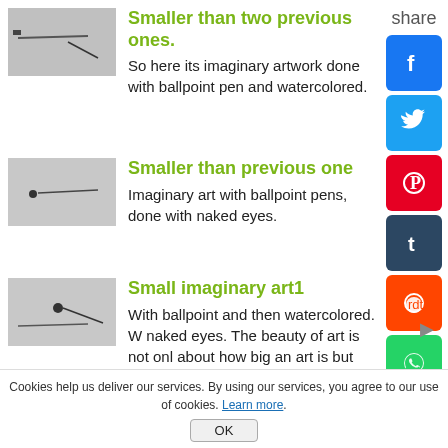[Figure (photo): Small thumbnail of pen/watercolor artwork — first item]
Smaller than two previous ones.
So here its imaginary artwork done with ballpoint pen and watercolored.
[Figure (photo): Small thumbnail of pen artwork — second item]
Smaller than previous one
Imaginary art with ballpoint pens, done with naked eyes.
[Figure (photo): Small thumbnail of pen artwork — third item]
Small imaginary art1
With ballpoint and then watercolored. W naked eyes. The beauty of art is not onl about how big an art is but sometimes it about how small it is.
share
Cookies help us deliver our services. By using our services, you agree to our use of cookies. Learn more.